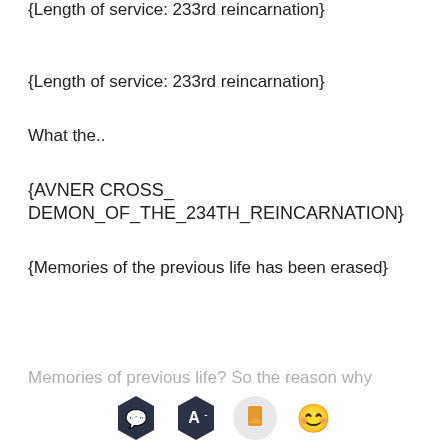{Length of service: 233rd reincarnation}
What the..
{AVNER CROSS_
DEMON_OF_THE_234TH_REINCARNATION}
{Memories of the previous life has been erased}
Memories of previous life? So the reason why
[Figure (screenshot): Mobile reader app toolbar with four icons: speech bubble (dark hexagon), font size decrease (dark hexagon with A-), bookmark (orange rectangle), and happy face emoji]